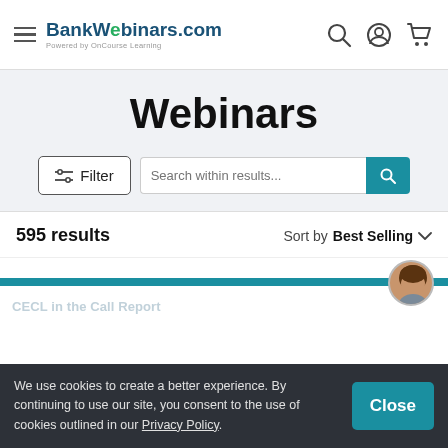BankWebinars.com — Powered by OnCourse Learning — navigation header with hamburger menu, search, account, and cart icons
Webinars
Filter | Search within results...
595 results    Sort by Best Selling
[Figure (screenshot): Partial card preview with teal horizontal bar, a circular avatar photo of a person, and ghost text reading 'CECL in the Call Report']
We use cookies to create a better experience. By continuing to use our site, you consent to the use of cookies outlined in our Privacy Policy.
Close